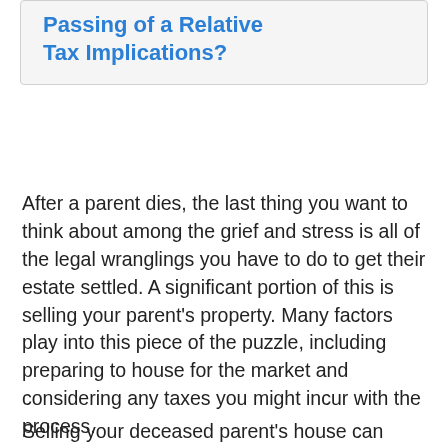Passing of a Relative Tax Implications?
After a parent dies, the last thing you want to think about among the grief and stress is all of the legal wranglings you have to do to get their estate settled. A significant portion of this is selling your parent's property. Many factors play into this piece of the puzzle, including preparing to house for the market and considering any taxes you might incur with the process.
Selling your deceased parent's house can